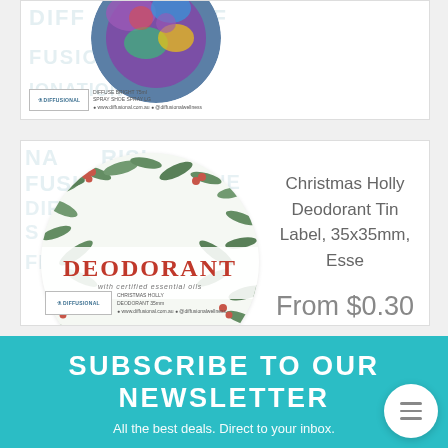[Figure (photo): Partially visible product card with floral circular label - Diffusional brand shoe spray product with purple/blue floral design]
[Figure (photo): Christmas Holly Deodorant Tin Label product card showing a circular label with pine needles and holly pattern, red DEODORANT text band, Diffusional brand]
Christmas Holly Deodorant Tin Label, 35x35mm, Esse
From $0.30
SUBSCRIBE TO OUR NEWSLETTER
All the best deals. Direct to your inbox.